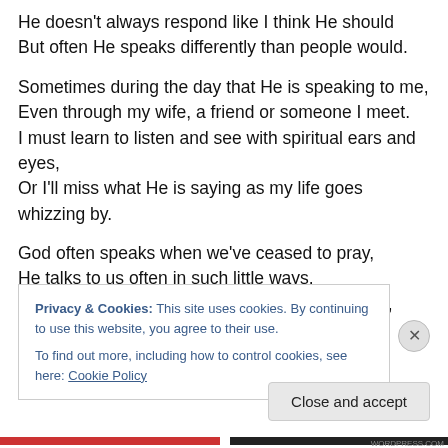He doesn't always respond like I think He should
But often He speaks differently than people would.

Sometimes during the day that He is speaking to me,
Even through my wife, a friend or someone I meet.
I must learn to listen and see with spiritual ears and eyes,
Or I'll miss what He is saying as my life goes whizzing by.

God often speaks when we've ceased to pray,
He talks to us often in such little ways.
He gives us opportunities to respond in His love,
Allowing those little tests for us to rise above
Privacy & Cookies: This site uses cookies. By continuing to use this website, you agree to their use.
To find out more, including how to control cookies, see here: Cookie Policy
Close and accept